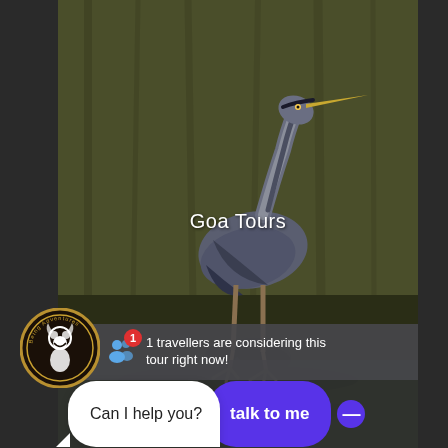[Figure (photo): A grey heron (large wading bird) standing in dark, murky water with a greenish-brown textured wall or reeds in the background. The bird has long grey legs and a long neck with a pointed beak.]
Goa Tours
[Figure (logo): Circular logo with dark background, gold border, and a white monkey icon in center with text around the ring reading 'Being Adventures']
1 travellers are considering this tour right now!
Can I help you?
talk to me